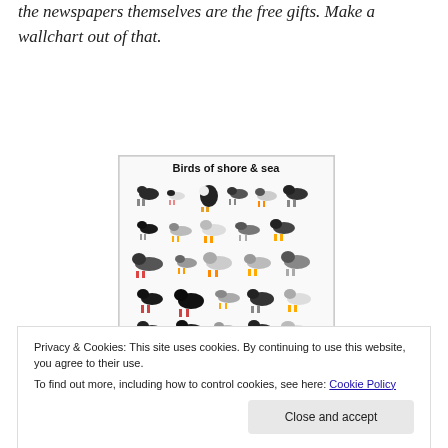the newspapers themselves are the free gifts. Make a wallchart out of that.
[Figure (illustration): A wallchart titled 'Birds of shore & sea' showing multiple illustrated bird species arranged in rows on a white background]
Privacy & Cookies: This site uses cookies. By continuing to use this website, you agree to their use.
To find out more, including how to control cookies, see here: Cookie Policy
Close and accept